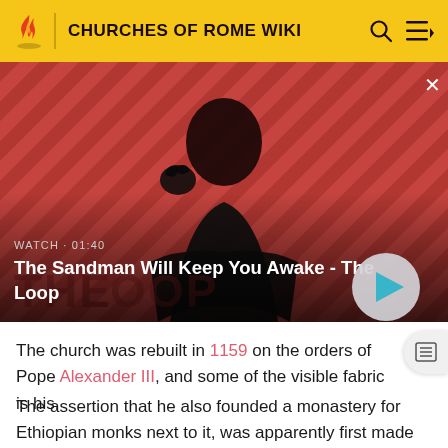CHURCHES OF ROME WIKI
[Figure (screenshot): Video thumbnail showing a dark-cloaked figure with a raven on shoulder against a red and black diagonal striped background. Text overlay: WATCH · 01:40 / The Sandman Will Keep You Awake - The Loop. Play button on right.]
The church was rebuilt in 1159 on the orders of Pope Alexander III, and some of the visible fabric is his.
The assertion that he also founded a monastery for Ethiopian monks next to it, was apparently first made by